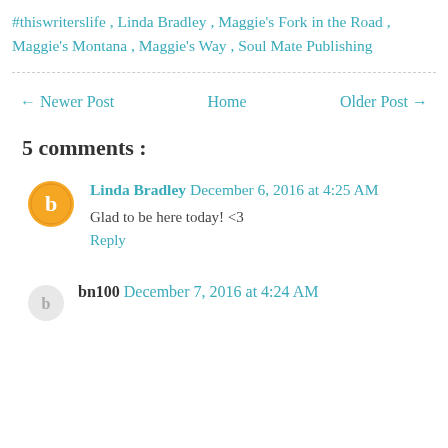#thiswriterslife , Linda Bradley , Maggie's Fork in the Road , Maggie's Montana , Maggie's Way , Soul Mate Publishing
← Newer Post   Home   Older Post →
5 comments :
Linda Bradley December 6, 2016 at 4:25 AM
Glad to be here today! <3
Reply
bn100 December 7, 2016 at 4:24 AM